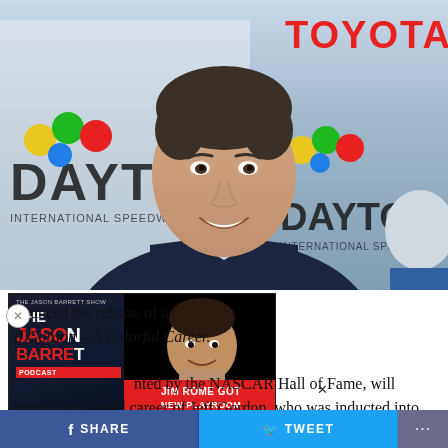[Figure (photo): Man in dark navy suit smiling at an event with Daytona International Speedway and Toyota sponsor banners in the background. Jeff Gordon at a NASCAR Hall of Fame announcement.]
[Figure (other): Overlay ad for The Jason Barrett Podcast featuring Jim Rome Got New Playroom promo image.]
...announced the release of a ...ff Gordon – A Colorful Career. ...ented by the NASCAR Hall of Fame, will detail the life and career of Jeff Gordon, who was inducted into the Hall of Fame in February. Gordon
SHARE    TWEET    ...